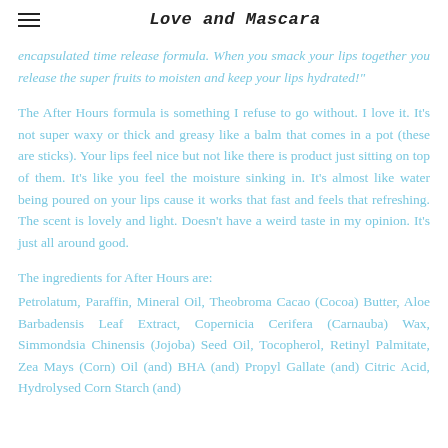Love and Mascara
encapsulated time release formula. When you smack your lips together you release the super fruits to moisten and keep your lips hydrated!"
The After Hours formula is something I refuse to go without. I love it. It's not super waxy or thick and greasy like a balm that comes in a pot (these are sticks). Your lips feel nice but not like there is product just sitting on top of them. It's like you feel the moisture sinking in. It's almost like water being poured on your lips cause it works that fast and feels that refreshing. The scent is lovely and light. Doesn't have a weird taste in my opinion. It's just all around good.
The ingredients for After Hours are:
Petrolatum, Paraffin, Mineral Oil, Theobroma Cacao (Cocoa) Butter, Aloe Barbadensis Leaf Extract, Copernicia Cerifera (Carnauba) Wax, Simmondsia Chinensis (Jojoba) Seed Oil, Tocopherol, Retinyl Palmitate, Zea Mays (Corn) Oil (and) BHA (and) Propyl Gallate (and) Citric Acid, Hydrolysed Corn Starch (and)